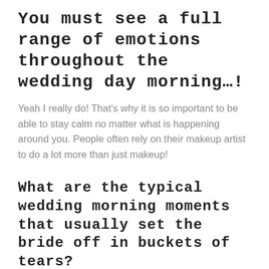You must see a full range of emotions throughout the wedding day morning…!
Yeah I really do! That's why it is so important to be able to stay calm no matter what is happening around you. People often rely on their makeup artist to do a lot more than just makeup!
What are the typical wedding morning moments that usually set the bride off in buckets of tears?
There are so many things to get emotional about on your wedding day! The biggest ones are when the brides family members arrive or if the groom writes them a letter to read before the wedding. Generally if someone else starts to cry the bride will end up in